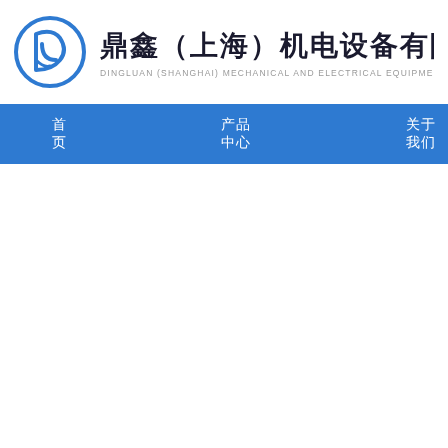[Figure (logo): Dingluan company circular logo with stylized D and L letters in blue]
鼎鑫（上海）机电设备有限公司 DINGLUAN (SHANGHAI) MECHANICAL AND ELECTRICAL EQUIPMENT C
首页　　　　产品中心　　　　关于我们